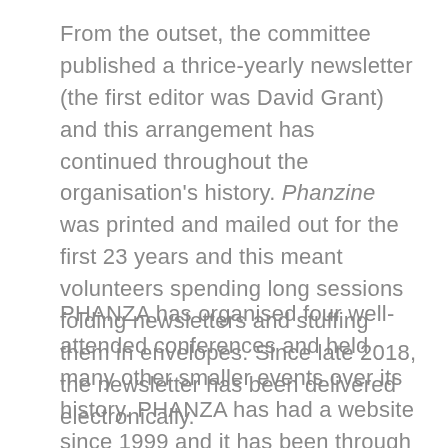From the outset, the committee published a thrice-yearly newsletter (the first editor was David Grant) and this arrangement has continued throughout the organisation's history. Phanzine was printed and mailed out for the first 23 years and this meant volunteers spending long sessions folding newsletters and stuffing them in envelopes. Since late 2018, the newsletter has been delivered electronically.
PHANZA has organised four well-attended conferences and held many other smaller events over its history. PHANZA has had a website since 1999 and it has been through three iterations since. The ability to offer an increasing range of opportunities to members to publicise their work has been a focus of website development over the past two decades.